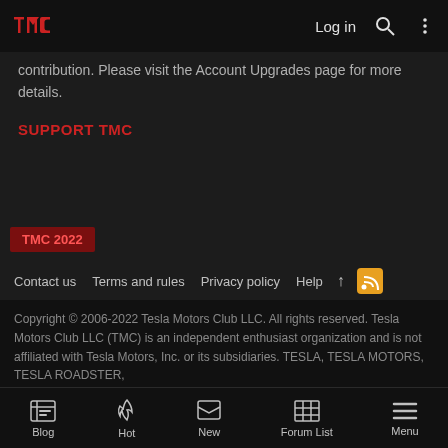TMC logo | Log in | Search | More
contribution. Please visit the Account Upgrades page for more details.
SUPPORT TMC
TMC 2022
Contact us   Terms and rules   Privacy policy   Help   ↑   RSS
Copyright © 2006-2022 Tesla Motors Club LLC. All rights reserved. Tesla Motors Club LLC (TMC) is an independent enthusiast organization and is not affiliated with Tesla Motors, Inc. or its subsidiaries. TESLA, TESLA MOTORS, TESLA ROADSTER,
Blog | Hot | New | Forum List | Menu